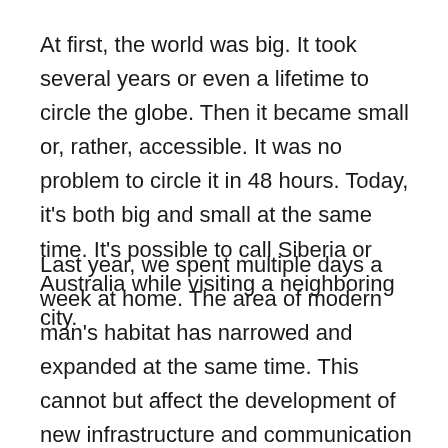At first, the world was big. It took several years or even a lifetime to circle the globe. Then it became small or, rather, accessible. It was no problem to circle it in 48 hours. Today, it's both big and small at the same time. It's possible to call Siberia or Australia while visiting a neighboring city.
Last year, we spent multiple days a week at home. The area of modern man's habitat has narrowed and expanded at the same time. This cannot but affect the development of new infrastructure and communication technologies.